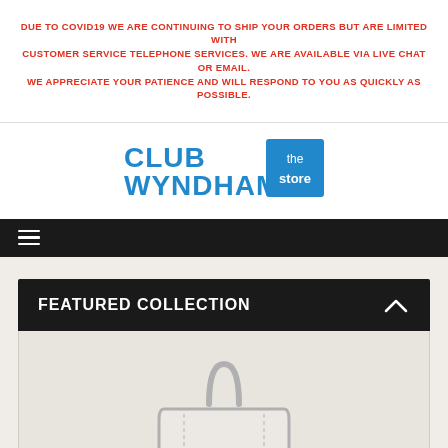DUE TO COVID19 WE ARE CONTINUING TO SHIP YOUR ORDERS BUT ARE LIMITED WITH CUSTOMER SERVICE TELEPHONE SERVICES. WE ARE AVAILABLE VIA LIVE CHAT OR EMAIL. WE APPRECIATE YOUR PATIENCE AND WILL RESPOND TO YOU AS QUICKLY AS POSSIBLE.
[Figure (logo): Club Wyndham The Store logo — bold blue text 'CLUB WYNDHAM' with a blue square badge reading 'the store' in white]
[Figure (infographic): Black navigation bar with hamburger menu icon (three white horizontal lines) on the left]
FEATURED COLLECTION
[Figure (illustration): Product illustration of a handbag/tote bag shown as a line drawing on a light gray background]